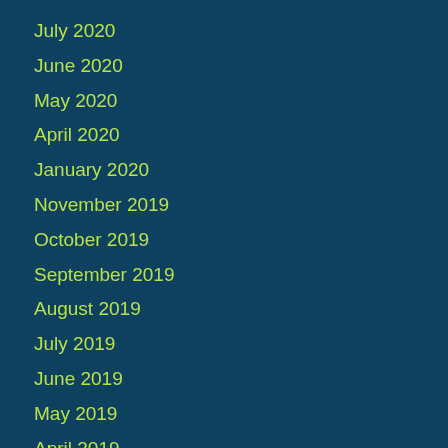July 2020
June 2020
May 2020
April 2020
January 2020
November 2019
October 2019
September 2019
August 2019
July 2019
June 2019
May 2019
April 2019
March 2019